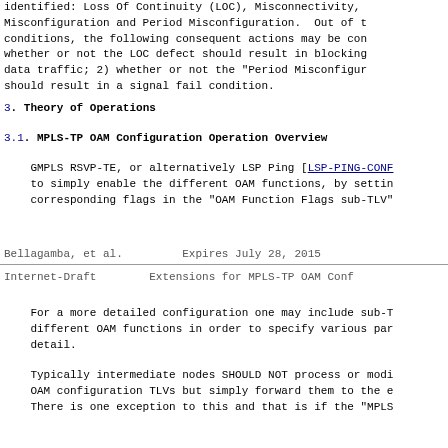identified: Loss Of Continuity (LOC), Misconnectivity,
Misconfiguration and Period Misconfiguration.  Out of t
conditions, the following consequent actions may be con
whether or not the LOC defect should result in blocking
data traffic; 2) whether or not the "Period Misconfigur
should result in a signal fail condition.
3.   Theory of Operations
3.1.  MPLS-TP OAM Configuration Operation Overview
GMPLS RSVP-TE, or alternatively LSP Ping [LSP-PING-CONF
to simply enable the different OAM functions, by settin
corresponding flags in the "OAM Function Flags sub-TLV"
Bellagamba, et al.         Expires July 28, 2015
Internet-Draft        Extensions for MPLS-TP OAM Conf
For a more detailed configuration one may include sub-T
different OAM functions in order to specify various par
detail.
Typically intermediate nodes SHOULD NOT process or modi
OAM configuration TLVs but simply forward them to the e
There is one exception to this and that is if the "MPLS